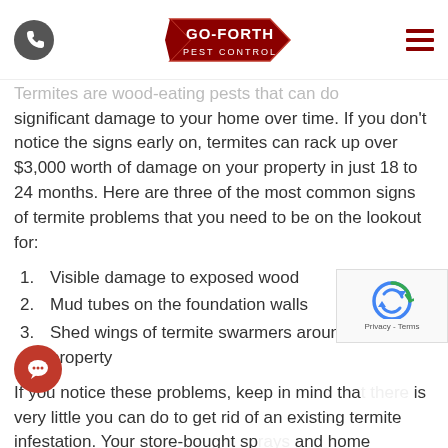Go-Forth Pest Control
Termites are wood-eating pests that can do significant damage to your home over time. If you don't notice the signs early on, termites can rack up over $3,000 worth of damage on your property in just 18 to 24 months. Here are three of the most common signs of termite problems that you need to be on the lookout for:
Visible damage to exposed wood
Mud tubes on the foundation walls
Shed wings of termite swarmers around the property
If you notice these problems, keep in mind that there is very little you can do to get rid of an existing termite infestation. Your store-bought sprays and home remedies will only eradicate a small portion of the infestation. Fortunately, our